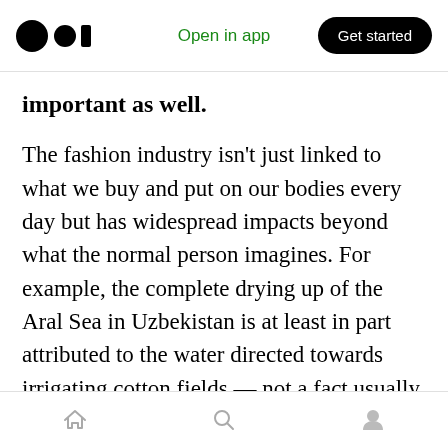Open in app | Get started
important as well.
The fashion industry isn't just linked to what we buy and put on our bodies every day but has widespread impacts beyond what the normal person imagines. For example, the complete drying up of the Aral Sea in Uzbekistan is at least in part attributed to the water directed towards irrigating cotton fields — not a fact usually in the minds of consumers who buy the latest cheap trend. The fashion industry is linked to agriculture, mining, forestry, refinery, logistics, economic growth, poverty, politics and more
Home | Search | Profile